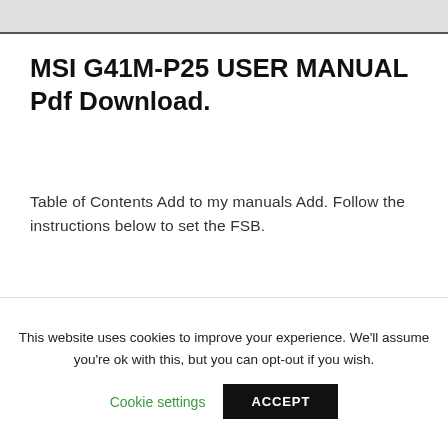MSI G41M-P25 USER MANUAL Pdf Download.
Table of Contents Add to my manuals Add. Follow the instructions below to set the FSB.
[Figure (screenshot): Partial screenshot of MSI G41M-P25 manual page showing MS-7592 label, Russian text 'РУССКИЙ', and section header 'НАЧАЛО РАБОТЫ']
This website uses cookies to improve your experience. We'll assume you're ok with this, but you can opt-out if you wish.
Cookie settings   ACCEPT